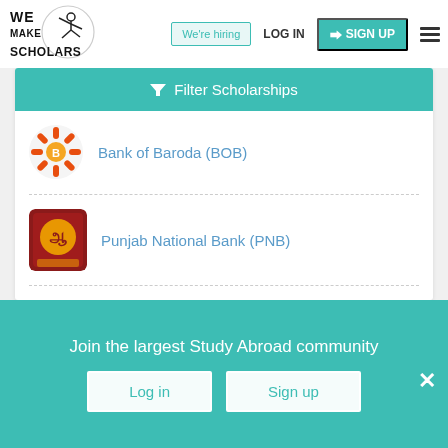[Figure (logo): We Make Scholars logo with acrobat figure]
We're hiring  LOG IN  SIGN UP
Filter Scholarships
Bank of Baroda (BOB)
Punjab National Bank (PNB)
Apply for abroad education loan without collateral
Join the largest Study Abroad community
Log in
Sign up